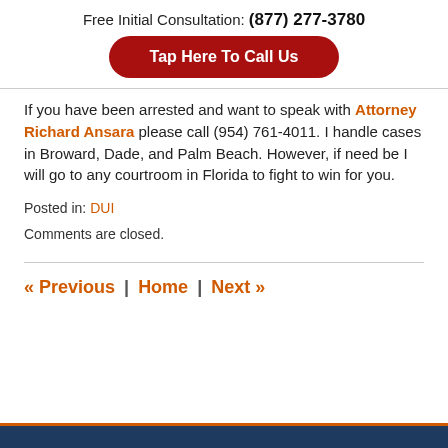Free Initial Consultation: (877) 277-3780
[Figure (other): Red rounded button with white text: Tap Here To Call Us]
If you have been arrested and want to speak with Attorney Richard Ansara please call (954) 761-4011. I handle cases in Broward, Dade, and Palm Beach. However, if need be I will go to any courtroom in Florida to fight to win for you.
Posted in: DUI
Comments are closed.
« Previous | Home | Next »